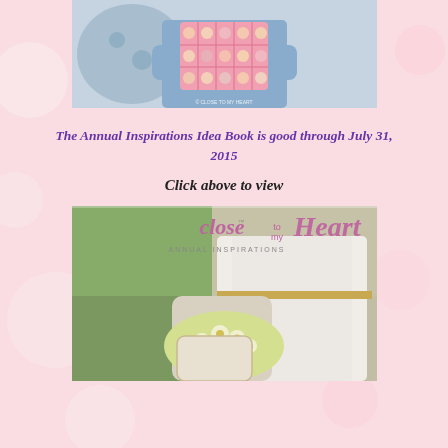[Figure (photo): Person in blue shirt holding up a pink decorative box with cookies/treats in front of their face, sitting on a couch]
The Annual Inspirations Idea Book is good through July 31, 2015
Click above to view
[Figure (photo): Close to My Heart Annual Inspirations catalog cover showing a woman in white lace dress holding daisies]